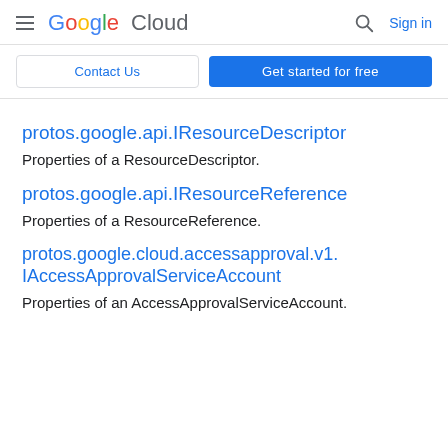Google Cloud  Sign in
Contact Us  Get started for free
protos.google.api.IResourceDescriptor
Properties of a ResourceDescriptor.
protos.google.api.IResourceReference
Properties of a ResourceReference.
protos.google.cloud.accessapproval.v1.IAccessApprovalServiceAccount
Properties of an AccessApprovalServiceAccount.